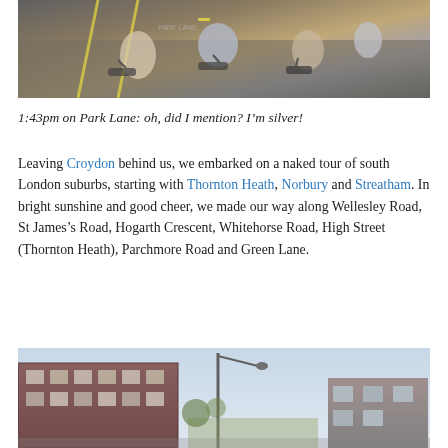[Figure (photo): Overhead view of naked cyclists on Park Lane, one painted silver, riding together on the street]
1:43pm on Park Lane: oh, did I mention? I'm silver!
Leaving Croydon behind us, we embarked on a naked tour of south London suburbs, starting with Thornton Heath, Norbury and Streatham. In bright sunshine and good cheer, we made our way along Wellesley Road, St James's Road, Hogarth Crescent, Whitehorse Road, High Street (Thornton Heath), Parchmore Road and Green Lane.
[Figure (photo): Street scene in south London suburb, showing a brick building and a lamp post against a partly cloudy sky]